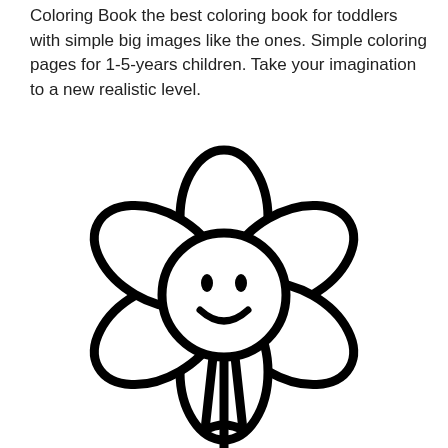Coloring Book the best coloring book for toddlers with simple big images like the ones. Simple coloring pages for 1-5-years children. Take your imagination to a new realistic level.
[Figure (illustration): A simple black-and-white line drawing of a daisy flower with a smiley face in the center circle. The flower has six rounded petals arranged around the central circle. The center has two small oval eyes and a curved smile. Below the flower is a simple stem.]